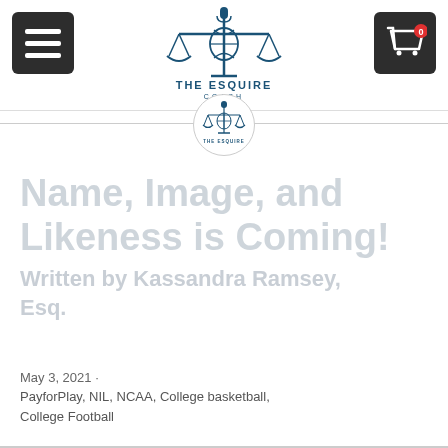[Figure (logo): The Esquire Coach logo — scales of justice with basketball, microphone on top, text THE ESQUIRE COACH below]
Name, Image, and Likeness is Coming!
Written by Kassandra Ramsey, Esq.
May 3, 2021 · PayforPlay, NIL, NCAA, College basketball, College Football